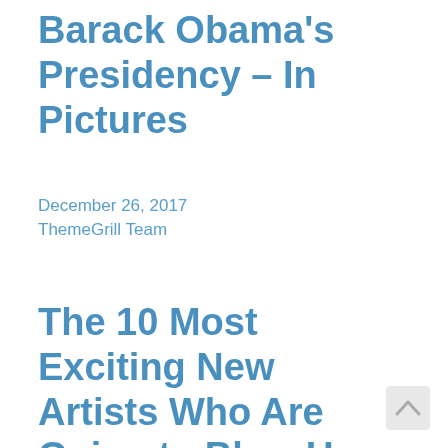Barack Obama's Presidency – In Pictures
December 26, 2017
ThemeGrill Team
The 10 Most Exciting New Artists Who Are Going to Blow Up in 2018